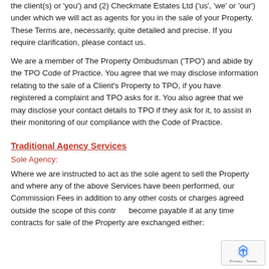the client(s) or 'you') and (2) Checkmate Estates Ltd ('us', 'we' or 'our') under which we will act as agents for you in the sale of your Property. These Terms are, necessarily, quite detailed and precise. If you require clarification, please contact us.
We are a member of The Property Ombudsman ('TPO') and abide by the TPO Code of Practice. You agree that we may disclose information relating to the sale of a Client's Property to TPO, if you have registered a complaint and TPO asks for it. You also agree that we may disclose your contact details to TPO if they ask for it, to assist in their monitoring of our compliance with the Code of Practice.
Traditional Agency Services
Sole Agency:
Where we are instructed to act as the sole agent to sell the Property and where any of the above Services have been performed, our Commission Fees in addition to any other costs or charges agreed outside the scope of this contract become payable if at any time contracts for sale of the Property are exchanged either: